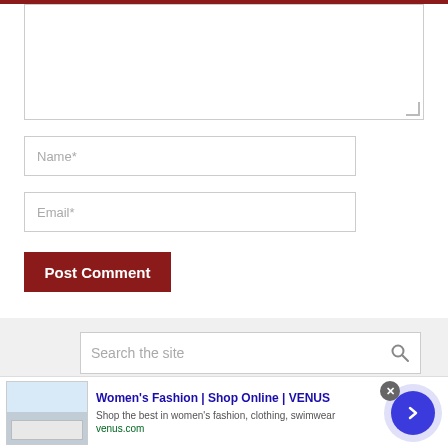[Figure (screenshot): Comment form with textarea, Name field, Email field, Post Comment button, search bar, and an advertisement banner for Women's Fashion at VENUS]
Name*
Email*
Post Comment
Search the site
Women's Fashion | Shop Online | VENUS
Shop the best in women's fashion, clothing, swimwear
venus.com